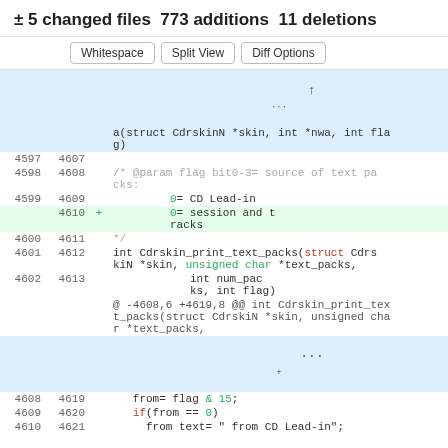± 5 changed files 773 additions 11 deletions
Whitespace | Split View | Diff Options
[Figure (screenshot): Code diff view showing changes to a C source file with line numbers, additions in green, and a collapsed hunk indicator. Lines 4597-4621 shown.]